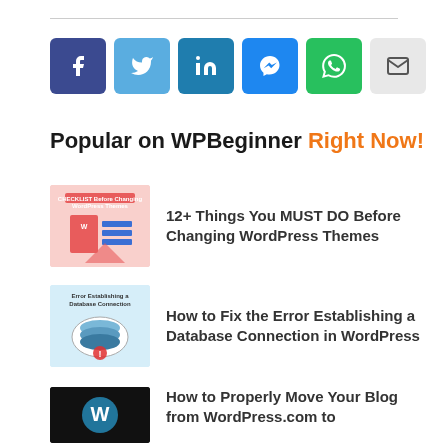[Figure (other): Row of social sharing icon buttons: Facebook (dark blue), Twitter (light blue), LinkedIn (dark teal), Messenger (blue), WhatsApp (green), Email (light gray)]
Popular on WPBeginner Right Now!
[Figure (illustration): Thumbnail image: checklist graphic for WordPress themes with text 'CHECKLIST Before Changing WordPress Themes']
12+ Things You MUST DO Before Changing WordPress Themes
[Figure (illustration): Thumbnail image: Error Establishing a Database Connection in WordPress with database icon]
How to Fix the Error Establishing a Database Connection in WordPress
[Figure (illustration): Thumbnail image: black background with WordPress logo]
How to Properly Move Your Blog from WordPress.com to